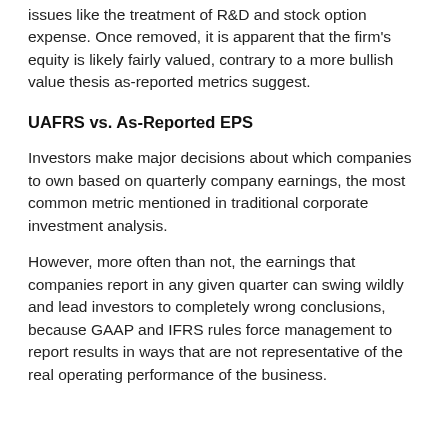issues like the treatment of R&D and stock option expense. Once removed, it is apparent that the firm's equity is likely fairly valued, contrary to a more bullish value thesis as-reported metrics suggest.
UAFRS vs. As-Reported EPS
Investors make major decisions about which companies to own based on quarterly company earnings, the most common metric mentioned in traditional corporate investment analysis.
However, more often than not, the earnings that companies report in any given quarter can swing wildly and lead investors to completely wrong conclusions, because GAAP and IFRS rules force management to report results in ways that are not representative of the real operating performance of the business.